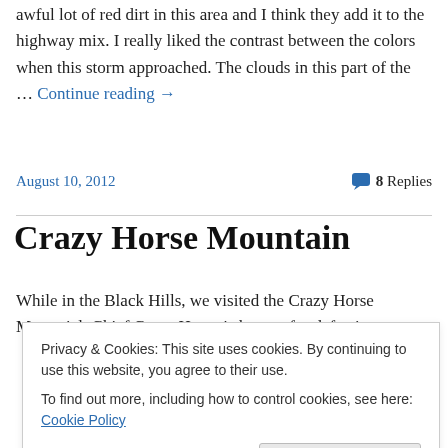awful lot of red dirt in this area and I think they add it to the highway mix. I really liked the contrast between the colors when this storm approached. The clouds in this part of the … Continue reading →
August 10, 2012
8 Replies
Crazy Horse Mountain
While in the Black Hills, we visited the Crazy Horse Memorial. Chief Crazy Horse is known for defeating
Privacy & Cookies: This site uses cookies. By continuing to use this website, you agree to their use.
To find out more, including how to control cookies, see here: Cookie Policy
Close and accept